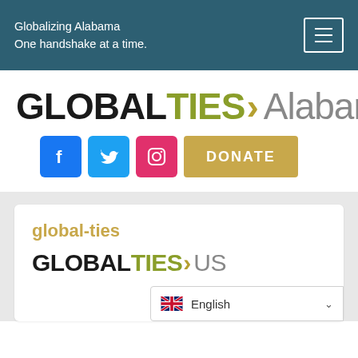Globalizing Alabama
One handshake at a time.
[Figure (logo): Global Ties Alabama logo with GLOBAL in black bold, TIES in olive/green bold, a gold chevron arrow, and Alabama in gray sans-serif]
[Figure (infographic): Social media buttons: Facebook (blue), Twitter (cyan), Instagram (pink), and a gold DONATE button]
global-ties
[Figure (logo): Global Ties US logo with GLOBAL in black bold, TIES in olive/green bold, a gold chevron arrow, and US in gray sans-serif (partially cropped)]
English